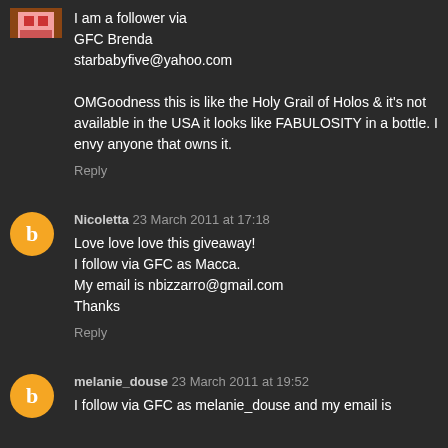I am a follower via
GFC Brenda
starbabyfive@yahoo.com

OMGoodness this is like the Holy Grail of Holos & it's not available in the USA it looks like FABULOSITY in a bottle. I envy anyone that owns it.
Reply
Nicoletta 23 March 2011 at 17:18
Love love love this giveaway!
I follow via GFC as Macca.
My email is nbizzarro@gmail.com
Thanks
Reply
melanie_douse 23 March 2011 at 19:52
I follow via GFC as melanie_douse and my email is